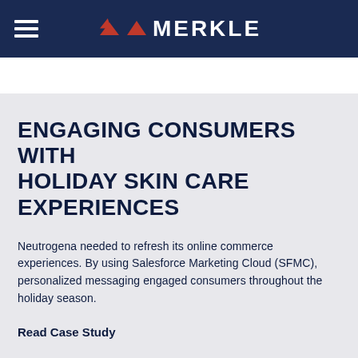[Figure (logo): Merkle logo with hamburger menu icon on dark navy blue header bar]
ENGAGING CONSUMERS WITH HOLIDAY SKIN CARE EXPERIENCES
Neutrogena needed to refresh its online commerce experiences. By using Salesforce Marketing Cloud (SFMC), personalized messaging engaged consumers throughout the holiday season.
Read Case Study